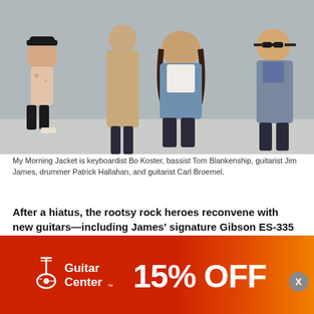[Figure (photo): Band photo of My Morning Jacket — five members sitting/standing on steps in front of a grey wall. Members include one wearing a wide-brimmed black hat, one in a tan/camel coat, one large man in a denim jacket, and one in sunglasses and a grey jacket.]
My Morning Jacket is keyboardist Bo Koster, bassist Tom Blankenship, guitarist Jim James, drummer Patrick Hallahan, and guitarist Carl Broemel.
After a hiatus, the rootsy rock heroes reconvene with new guitars—including James' signature Gibson ES-335—to deliver a self-titled album of big beats and powerhouse jams.
My Morning Jacket guitarists Jim James and Carl Broemel both play amazing, beautiful, high-end guitars. But during sessions they spent fancy e kept
[Figure (other): Guitar Center advertisement banner showing red-to-orange gradient background with Guitar Center logo on the left and '15% OFF' text on the right in large white bold letters. A small 'X' close button appears in a grey circle at the top right of the ad.]